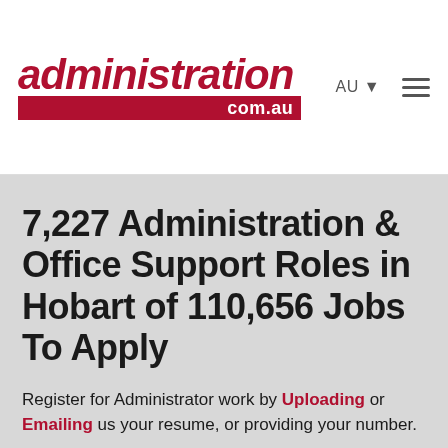administration.com.au | AU | menu
7,227 Administration & Office Support Roles in Hobart of 110,656 Jobs To Apply
Register for Administrator work by Uploading or Emailing us your resume, or providing your number.